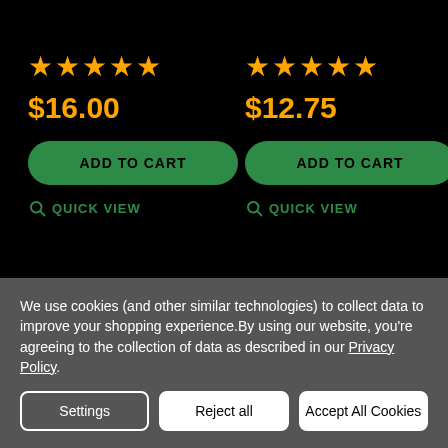★★★★★ (5 stars) — Product 1
$16.00
ADD TO CART
QUICK VIEW
★★★★★ (5 stars) — Product 2
$12.75
ADD TO CART
QUICK VIEW
We use cookies (and other similar technologies) to collect data to improve your shopping experience.By using our website, you're agreeing to the collection of data as described in our Privacy Policy.
Settings
Reject all
Accept All Cookies